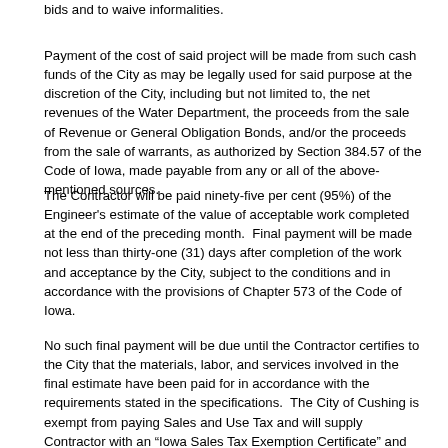bids and to waive informalities.
Payment of the cost of said project will be made from such cash funds of the City as may be legally used for said purpose at the discretion of the City, including but not limited to, the net revenues of the Water Department, the proceeds from the sale of Revenue or General Obligation Bonds, and/or the proceeds from the sale of warrants, as authorized by Section 384.57 of the Code of Iowa, made payable from any or all of the above-mentioned sources.
The Contractor will be paid ninety-five per cent (95%) of the Engineer's estimate of the value of acceptable work completed at the end of the preceding month.  Final payment will be made not less than thirty-one (31) days after completion of the work and acceptance by the City, subject to the conditions and in accordance with the provisions of Chapter 573 of the Code of Iowa.
No such final payment will be due until the Contractor certifies to the City that the materials, labor, and services involved in the final estimate have been paid for in accordance with the requirements stated in the specifications.  The City of Cushing is exempt from paying Sales and Use Tax and will supply Contractor with an “Iowa Sales Tax Exemption Certificate” and an authorization letter